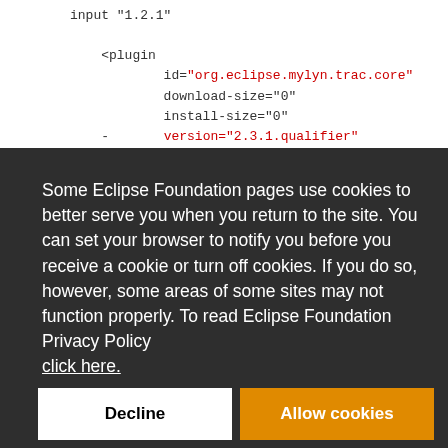input "1.2.1"
    <plugin
            id="org.eclipse.mylyn.trac.core"
            download-size="0"
            install-size="0"
    -       version="2.3.1.qualifier"
Some Eclipse Foundation pages use cookies to better serve you when you return to the site. You can set your browser to notify you before you receive a cookie or turn off cookies. If you do so, however, some areas of some sites may not function properly. To read Eclipse Foundation Privacy Policy click here.
Decline
Allow cookies
Governance